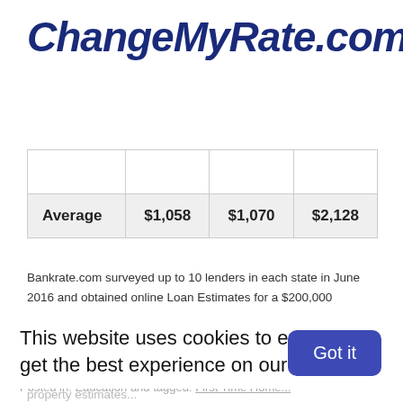[Figure (logo): ChangeMyRate.com logo in dark navy blue italic bold text with registered trademark symbol]
|  |  |  |  |
| --- | --- | --- | --- |
| Average | $1,058 | $1,070 | $2,128 |
Bankrate.com surveyed up to 10 lenders in each state in June 2016 and obtained online Loan Estimates for a $200,000 mortgage to buy a single-family home with a 20% down payment in a prominent city. Costs include fees charged by lenders, as well as 3rd-party fees for services such as appraisals and credit reports. The survey excludes title insurance, title search, taxes, property estimates...
This website uses cookies to ensure you get the best experience on our website
Posted in: Education and tagged: First Time Home...